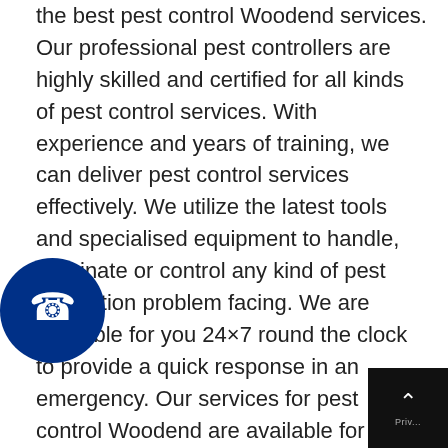the best pest control Woodend services. Our professional pest controllers are highly skilled and certified for all kinds of pest control services. With experience and years of training, we can deliver pest control services effectively. We utilize the latest tools and specialised equipment to handle, terminate or control any kind of pest infestation problem facing. We are available for you 24×7 round the clock to provide a quick response in an emergency. Our services for pest control Woodend are available for you at affordable costs. We follow a no-compromise policy when it comes to the quality of service we provide. Assume that once we are at your doorstep we will not leave without satisfying you. We deliver same day pest control service to save you time and prevent further exposure to the pests. Green and eco-friendly products are utilised for pest extermination and to maintain your hygienic home environment. Call us today and hire quality Clean For pest
[Figure (other): Blue circular phone call button with white phone handset icon]
[Figure (other): Black scroll-to-top button with white upward chevron and 'Priv...' text]